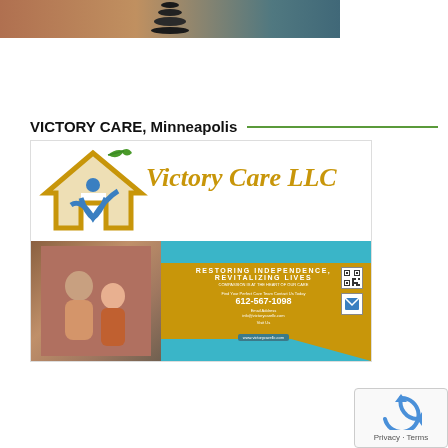[Figure (photo): Stacked black stones on water with sunset background]
VICTORY CARE, Minneapolis
[Figure (logo): Victory Care LLC logo and business card banner. Logo shows a house with a leaf and a blue figure with checkmark. Banner shows: RESTORING INDEPENDENCE, REVITALIZING LIVES, COMPASSION IS AT THE HEART OF OUR CARE, phone 612-567-1098, email info@victorycarellc.com, website www.victorycarellc.com]
[Figure (other): reCAPTCHA widget with Privacy and Terms text]